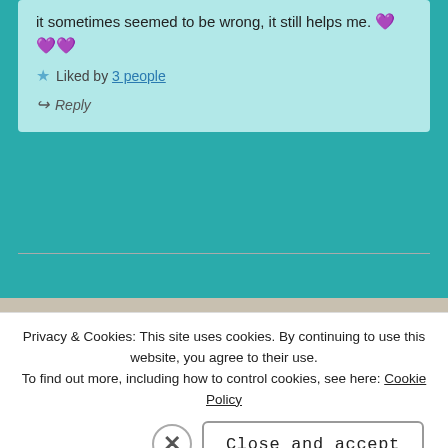it sometimes seemed to be wrong, it still helps me. 💜💜💜
★ Liked by 3 people
↪ Reply
ELIZA says:
NOV 19, 2020 AT 14:54
It does
Privacy & Cookies: This site uses cookies. By continuing to use this website, you agree to their use.
To find out more, including how to control cookies, see here: Cookie Policy